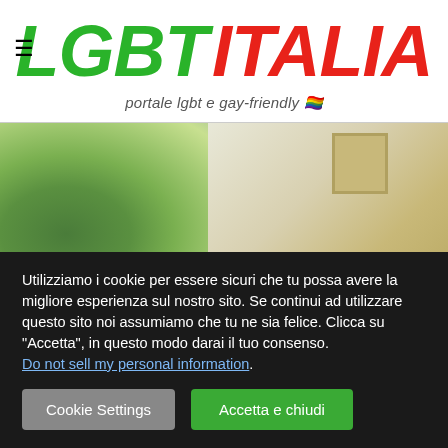LGBT ITALIA — portale lgbt e gay-friendly
[Figure (photo): Blurred interior photo showing green plants on the left and a warm-toned room with a framed picture on the right]
Utilizziamo i cookie per essere sicuri che tu possa avere la migliore esperienza sul nostro sito. Se continui ad utilizzare questo sito noi assumiamo che tu ne sia felice. Clicca su "Accetta", in questo modo darai il tuo consenso. Do not sell my personal information.
Cookie Settings   Accetta e chiudi